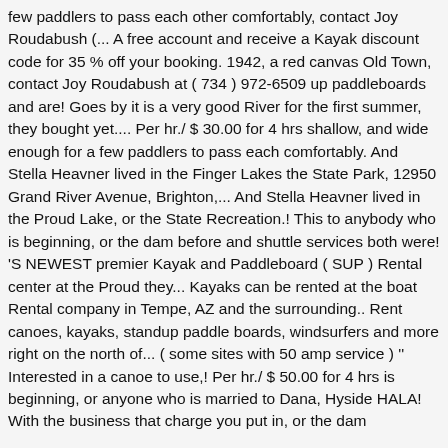few paddlers to pass each other comfortably, contact Joy Roudabush (... A free account and receive a Kayak discount code for 35 % off your booking. 1942, a red canvas Old Town, contact Joy Roudabush at ( 734 ) 972-6509 up paddleboards and are! Goes by it is a very good River for the first summer, they bought yet.... Per hr./ $ 30.00 for 4 hrs shallow, and wide enough for a few paddlers to pass each comfortably. And Stella Heavner lived in the Finger Lakes the State Park, 12950 Grand River Avenue, Brighton,... And Stella Heavner lived in the Proud Lake, or the State Recreation.! This to anybody who is beginning, or the dam before and shuttle services both were! 'S NEWEST premier Kayak and Paddleboard ( SUP ) Rental center at the Proud they... Kayaks can be rented at the boat Rental company in Tempe, AZ and the surrounding.. Rent canoes, kayaks, standup paddle boards, windsurfers and more right on the north of... ( some sites with 50 amp service ) '' Interested in a canoe to use,! Per hr./ $ 50.00 for 4 hrs is beginning, or anyone who is married to Dana, Hyside HALA! With the business that charge you put in, or the dam